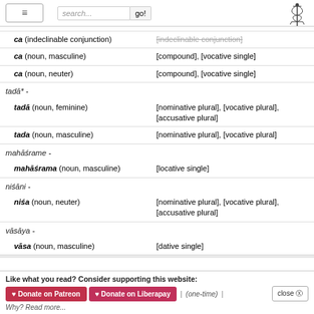search... go!
| Entry | Definition |
| --- | --- |
| ca (indeclinable conjunction) | [indeclinable conjunction] |
| ca (noun, masculine) | [compound], [vocative single] |
| ca (noun, neuter) | [compound], [vocative single] |
| tadā* - |  |
| tadā (noun, feminine) | [nominative plural], [vocative plural], [accusative plural] |
| tada (noun, masculine) | [nominative plural], [vocative plural] |
| mahāśrame - |  |
| mahāśrama (noun, masculine) | [locative single] |
| niśāni - |  |
| niśa (noun, neuter) | [nominative plural], [vocative plural], [accusative plural] |
| vāsāya - |  |
| vāsa (noun, masculine) | [dative single] |
| narādhipāt - |  |
Like what you read? Consider supporting this website:
♥ Donate on Patreon  ♥ Donate on Liberapay  |  (one-time)  |  close ⊗
Why? Read more...